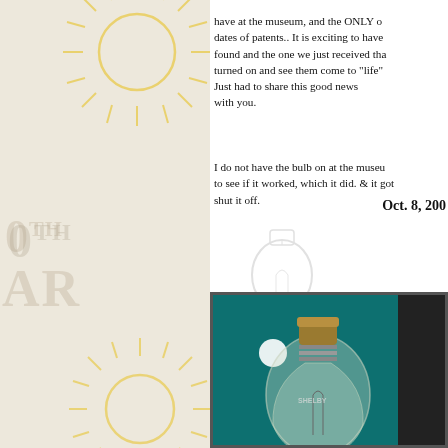have at the museum, and the ONLY o
dates of patents.. It is exciting to have
found and the one we just received tha
turned on and see them come to "life"
Just had to share this good news
with you.
I do not have the bulb on at the museu
to see if it worked, which it did. & it got
shut it off.
[Figure (illustration): Ghost/watermark illustration of an antique light bulb]
Oct. 8, 200
[Figure (photo): Photograph of a Shelby antique incandescent light bulb against a teal/green background, showing the glass bulb with internal filament and brass screw base]